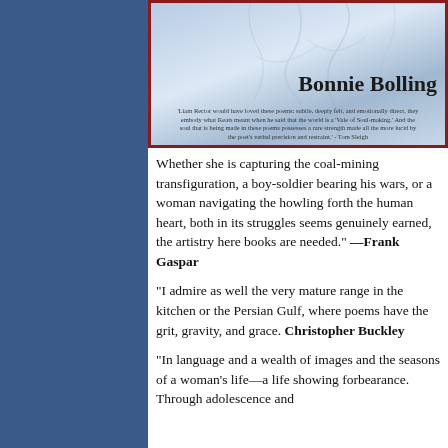[Figure (illustration): Book cover for a poetry collection by Bonnie Bolling, with a wintry blue-toned background. Includes author name 'Bonnie Bolling' in large serif font and a blurb quote from Tom Sleigh about the poems.]
Whether she is capturing the coal-mining transfiguration, a boy-soldier bearing his wars, or a woman navigating the howling forth the human heart, both in its struggle, seems genuinely earned, the artistry here books are needed." —Frank Gaspar
"I admire as well the very mature range in the kitchen or the Persian Gulf, where poems have the grit, gravity, and grace. Christopher Buckley
"In language and a wealth of images a the seasons of a woman's life—a life s forbearance. Through adolescence an